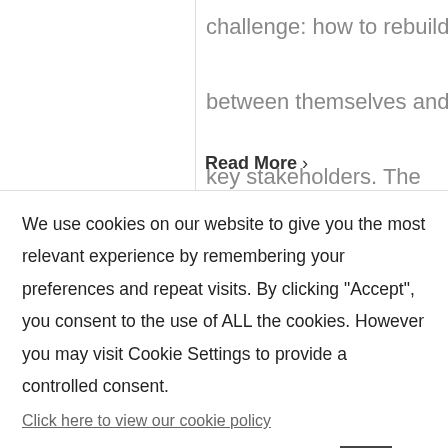challenge: how to rebuild trust between themselves and their key stakeholders. The
Read More >
We use cookies on our website to give you the most relevant experience by remembering your preferences and repeat visits. By clicking “Accept”, you consent to the use of ALL the cookies. However you may visit Cookie Settings to provide a controlled consent.
Click here to view our cookie policy
Cookie settings
ACCEPT